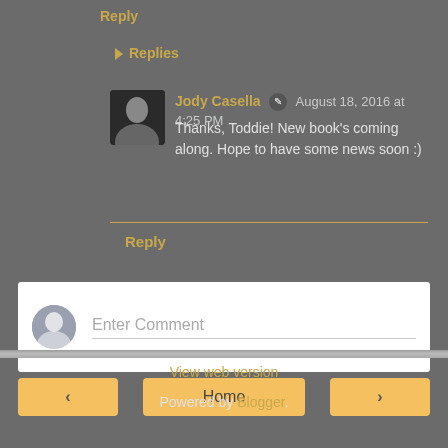Reply
Replies
Jody Casella ✏ August 18, 2016 at 4:25 PM
Thanks, Toddie! New book's coming along. Hope to have some news soon :)
Reply
[Figure (screenshot): Comment input box with avatar icon and 'Enter Comment' placeholder text]
Home
View web version
Powered by Blogger.